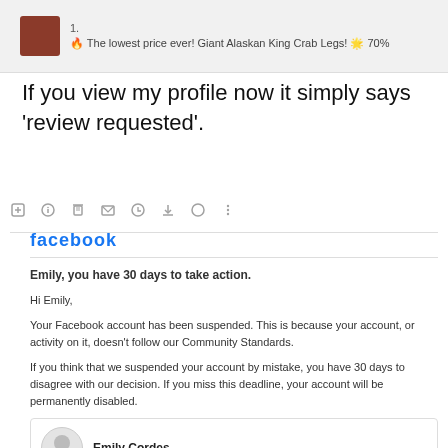[Figure (screenshot): Notification bar showing item 1: 'The lowest price ever! Giant Alaskan King Crab Legs! 🌟 70%' with a food image thumbnail]
If you view my profile now it simply says 'review requested'.
[Figure (screenshot): Email toolbar with icons: add, info, delete, email, clock, download, tag, more options]
facebook
Emily, you have 30 days to take action.
Hi Emily,
Your Facebook account has been suspended. This is because your account, or activity on it, doesn't follow our Community Standards.
If you think that we suspended your account by mistake, you have 30 days to disagree with our decision. If you miss this deadline, your account will be permanently disabled.
[Figure (screenshot): Profile card showing avatar placeholder and name 'Emily Cordes']
Disagree with decision